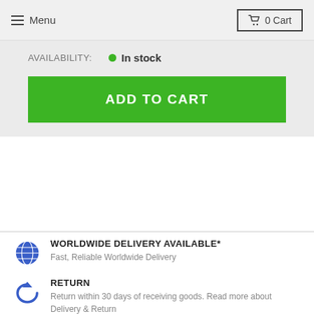Menu  0 Cart
AVAILABILITY:   • In stock
ADD TO CART
WORLDWIDE DELIVERY AVAILABLE*
Fast, Reliable Worldwide Delivery
RETURN
Return within 30 days of receiving goods. Read more about Delivery & Return